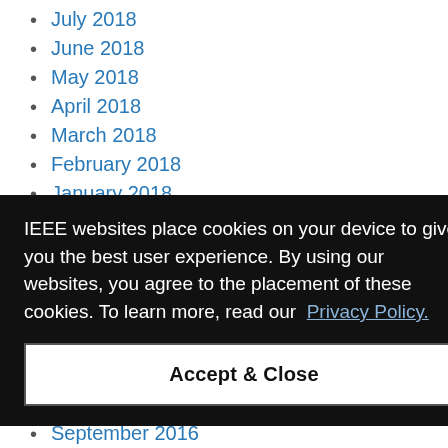July 2018
June 2018
May 2018
April 2018
March 2018
February 2018
January 2018
December 2017
November 2017
October 2017
IEEE websites place cookies on your device to give you the best user experience. By using our websites, you agree to the placement of these cookies. To learn more, read our Privacy Policy.
Accept & Close
October 2016
September 2016